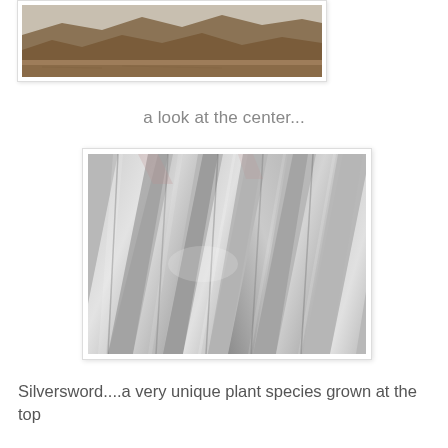[Figure (photo): Partial view of a landscape photo showing brown volcanic mountains and arid terrain, cropped at the top of the page]
a look at the center...
[Figure (photo): Close-up macro photo of Silversword plant leaves showing silvery, blade-like leaves arranged diagonally with metallic sheen]
Silversword....a very unique plant species grown at the top